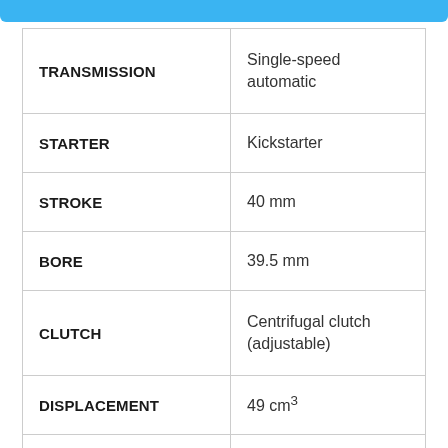| Specification | Value |
| --- | --- |
| TRANSMISSION | Single-speed automatic |
| STARTER | Kickstarter |
| STROKE | 40 mm |
| BORE | 39.5 mm |
| CLUTCH | Centrifugal clutch (adjustable) |
| DISPLACEMENT | 49 cm³ |
| EMS | NA |